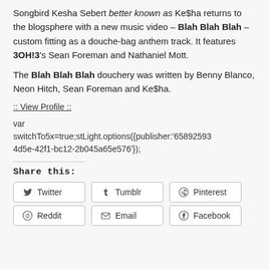Songbird Kesha Sebert better known as Ke$ha returns to the blogsphere with a new music video – Blah Blah Blah – custom fitting as a douche-bag anthem track. It features 3OH!3's Sean Foreman and Nathaniel Mott.
The Blah Blah Blah douchery was written by Benny Blanco, Neon Hitch, Sean Foreman and Ke$ha.
:: View Profile ::
var switchTo5x=true;stLight.options({publisher:'658925934d5e-42f1-bc12-2b045a65e576'});
Share this:
Twitter
Tumblr
Pinterest
Reddit
Email
Facebook